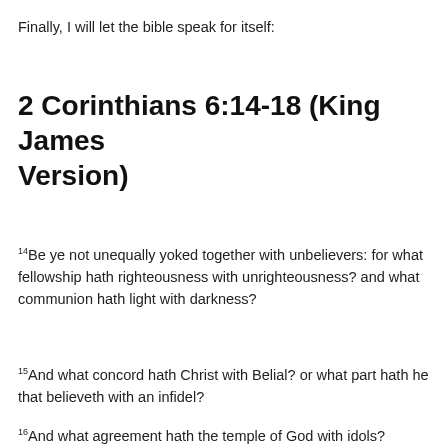Finally, I will let the bible speak for itself:
2 Corinthians 6:14-18 (King James Version)
14Be ye not unequally yoked together with unbelievers: for what fellowship hath righteousness with unrighteousness? and what communion hath light with darkness?
15And what concord hath Christ with Belial? or what part hath he that believeth with an infidel?
16And what agreement hath the temple of God with idols?